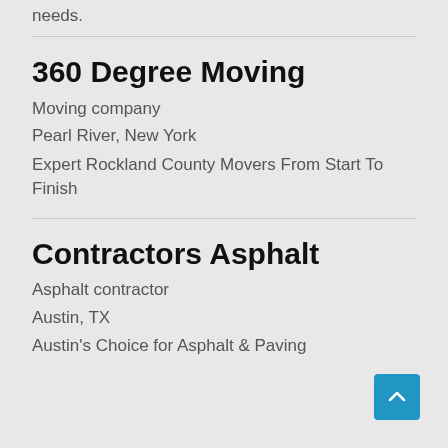needs.
360 Degree Moving
Moving company
Pearl River, New York
Expert Rockland County Movers From Start To Finish
Contractors Asphalt
Asphalt contractor
Austin, TX
Austin's Choice for Asphalt & Paving